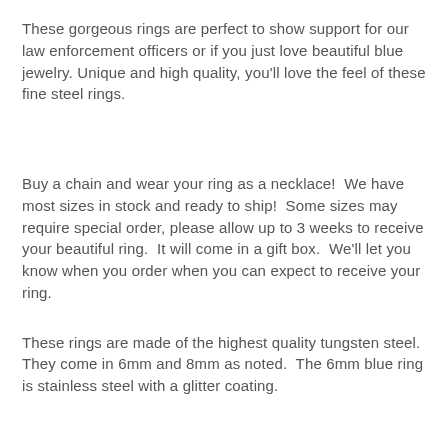These gorgeous rings are perfect to show support for our law enforcement officers or if you just love beautiful blue jewelry. Unique and high quality, you'll love the feel of these fine steel rings.
Buy a chain and wear your ring as a necklace!  We have most sizes in stock and ready to ship!  Some sizes may require special order, please allow up to 3 weeks to receive your beautiful ring.  It will come in a gift box.  We'll let you know when you order when you can expect to receive your ring.
These rings are made of the highest quality tungsten steel.  They come in 6mm and 8mm as noted.  The 6mm blue ring is stainless steel with a glitter coating.